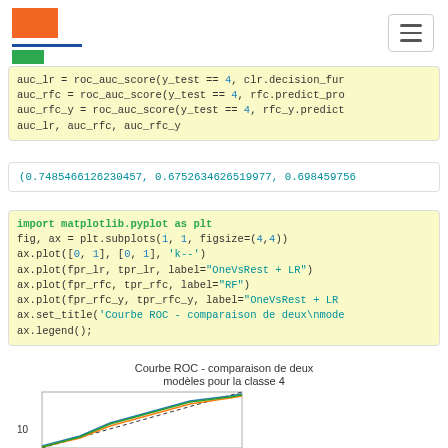[Logo and navigation header]
auc_lr = roc_auc_score(y_test == 4, clr.decision_fur
auc_rfc = roc_auc_score(y_test == 4, rfc.predict_pro
auc_rfc_y = roc_auc_score(y_test == 4, rfc_y.predict
auc_lr, auc_rfc, auc_rfc_y
(0.7485466126230457, 0.6752634626519977, 0.698459756
import matplotlib.pyplot as plt
fig, ax = plt.subplots(1, 1, figsize=(4,4))
ax.plot([0, 1], [0, 1], 'k--')
ax.plot(fpr_lr, tpr_lr, label="OneVsRest + LR")
ax.plot(fpr_rfc, tpr_rfc, label="RF")
ax.plot(fpr_rfc_y, tpr_rfc_y, label="OneVsRest + LR
ax.set_title('Courbe ROC - comparaison de deux\nmode
ax.legend();
[Figure (continuous-plot): Partial view of ROC curve plot titled 'Courbe ROC - comparaison de deux modèles pour la classe 4', showing y-axis starting at 1.0 and multiple colored curves (blue, orange, green) rising from lower left.]